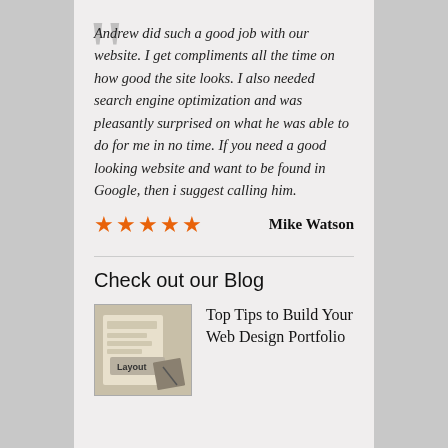Andrew did such a good job with our website. I get compliments all the time on how good the site looks. I also needed search engine optimization and was pleasantly surprised on what he was able to do for me in no time. If you need a good looking website and want to be found in Google, then i suggest calling him.
★★★★★   Mike Watson
Check out our Blog
[Figure (photo): Thumbnail image showing a 'Layout' sign/card on a desk with papers and a hand, representing web design portfolio]
Top Tips to Build Your Web Design Portfolio